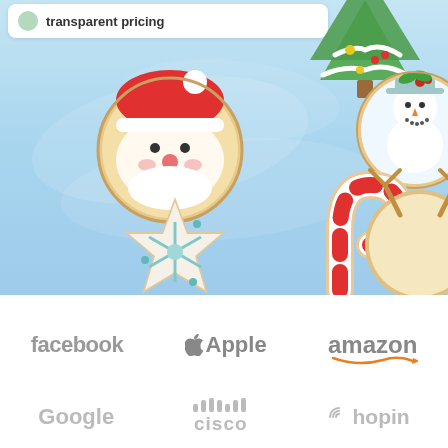[Figure (photo): Christmas cookie decorations on light blue background: Santa face cookie, Christmas tree cookie, snowman cookie, snowflake star cookie, candy cane cookie, reindeer cookie. Top white card reads 'transparent pricing'.]
[Figure (logo): Company logos row 1: facebook, Apple (with apple icon), amazon (with smile underline)]
[Figure (logo): Company logos row 2: Google, cisco (with signal dots above), hopin (with spiral icon)]